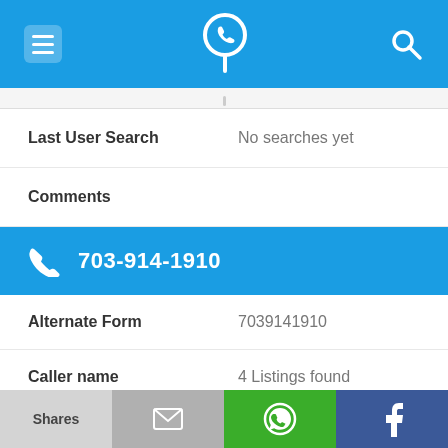703-914-1910 phone number lookup
Last User Search: No searches yet
Comments
703-914-1910
Alternate Form: 7039141910
Caller name: 4 Listings found
URL: https://www.facebook.co...
Shares | [mail] | [WhatsApp] | [Facebook]